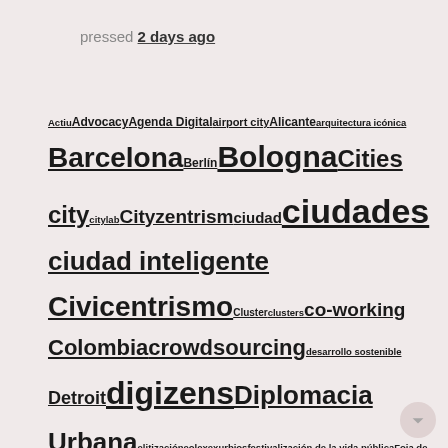pressed 2 days ago
Actiu Advocacy Agenda Digital airport city Alicante arquitectura icónica Barcelona Berlín Bologna Cities city citylab Cityzentrism ciudad ciudades ciudad inteligente Civicentrismo Cluster clusters co-working Colombia crowdsourcing desarrollo sostenible Detroit digizens Diplomacia Urbana elitización eolex exurbios festivalización de la vida pública Foia de Castalla Foro Suma freewheeling gamification gentrificación gobierno government GovTech hackathon identidad innovación innovación territorial itinerarios urbanales Leadership liderazgo Lobby Madrid mediterraneo